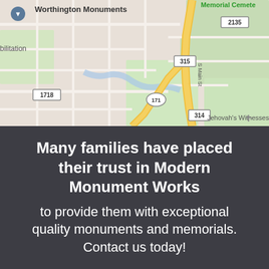[Figure (map): Google Maps screenshot showing Worthington Monuments location pin, with roads including S Main St, route numbers 1718, 315, 171, 314, 2135, and labels including Jehovah's Witnesses and Memorial Cemetery.]
Many families have placed their trust in Modern Monument Works to provide them with exceptional quality monuments and memorials. Contact us today!
CONTACT US